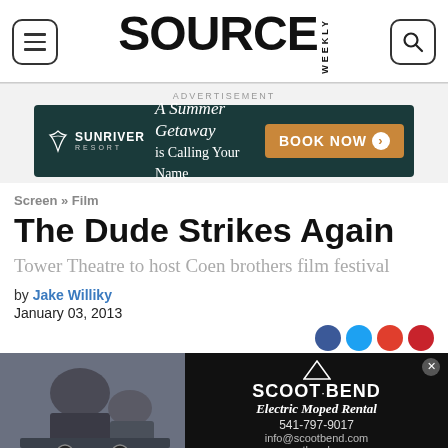SOURCE WEEKLY
[Figure (infographic): Sunriver Resort advertisement: 'A Summer Getaway is Calling Your Name' with BOOK NOW button]
Screen » Film
The Dude Strikes Again
Tower Theatre to host Coen brothers film festival
by Jake Williky
January 03, 2013
[Figure (infographic): Scoot Bend Electric Moped Rental advertisement with person and scooters photo, contact info: 541-797-9017, info@scootbend.com, scootbend.com]